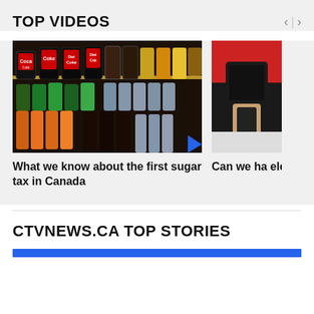TOP VIDEOS
[Figure (screenshot): Video thumbnail showing store shelf with Coca-Cola and other soft drink bottles]
[Figure (screenshot): Video thumbnail showing person looking at phone, partially cropped]
What we know about the first sugar tax in Canada
Can we ha elected off
CTVNEWS.CA TOP STORIES